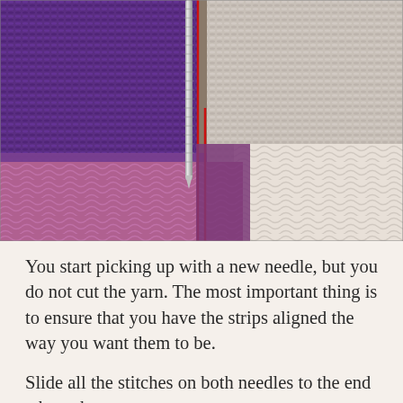[Figure (photo): Close-up photograph of knitting/crochet technique showing purple and white knitted fabric strips aligned on a needle with red yarn running vertically, demonstrating a joining technique. A metal knitting needle is visible along with textured ruffled fabric sections.]
You start picking up with a new needle, but you do not cut the yarn. The most important thing is to ensure that you have the strips aligned the way you want them to be.
Slide all the stitches on both needles to the end where the